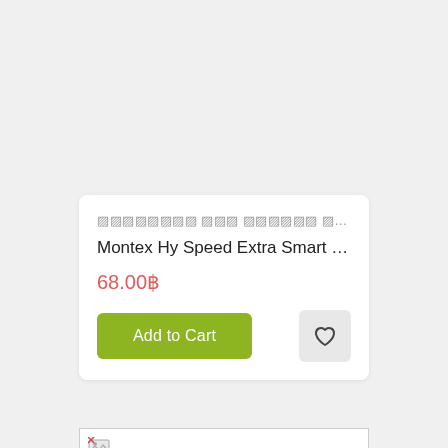xxxxxxxx xxx xxxxxx xxxxxxxxxx xxxxxxx ...
Montex Hy Speed Extra Smart Gel Pe...
68.00฿
Add to Cart
[Figure (illustration): Heart/wishlist icon button (grey rounded square background)]
[Figure (illustration): Broken image placeholder icon inside a bordered rectangle]